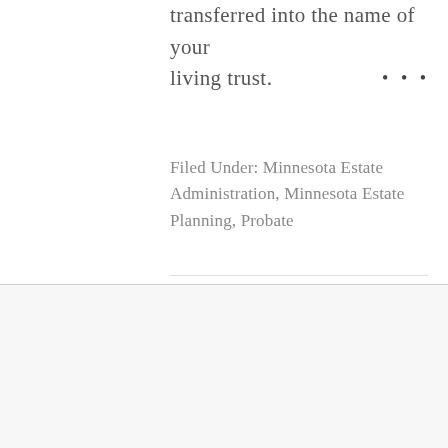transferred into the name of your living trust.
Filed Under: Minnesota Estate Administration, Minnesota Estate Planning, Probate
Contact Us
Lewis Kannegieter Law
4300 School Boulevard
PO Box 718